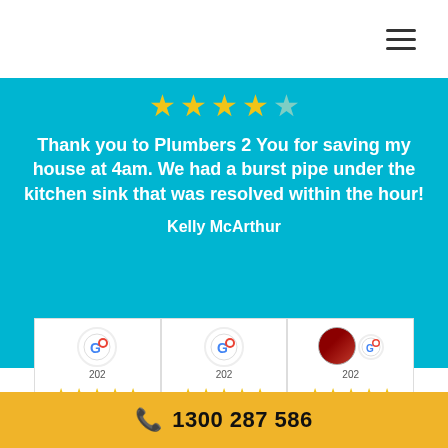[Figure (screenshot): Navigation bar with hamburger menu icon (three horizontal lines) in top right corner on white background]
[Figure (infographic): 5-star rating display showing approximately 4.5 stars in yellow/gold color on cyan background]
Thank you to Plumbers 2 You for saving my house at 4am. We had a burst pipe under the kitchen sink that was resolved within the hour!
Kelly McArthur
[Figure (screenshot): Three Google review cards showing user avatars with Google logo badges, year indicators (202x), and 5-star ratings in yellow on white card backgrounds]
1300 287 586